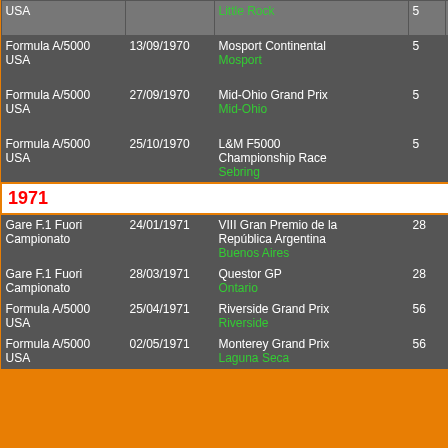| Series | Date | Race/Circuit | No. | Driver | Team |
| --- | --- | --- | --- | --- | --- |
| USA |  | Little Rock | 5 | Gregg Young | American Racing |
| Formula A/5000 USA | 13/09/1970 | Mosport Continental
Mosport | 5 | Gregg Young | Young American Racing |
| Formula A/5000 USA | 27/09/1970 | Mid-Ohio Grand Prix
Mid-Ohio | 5 | Gregg Young | Young American Racing |
| Formula A/5000 USA | 25/10/1970 | L&M F5000 Championship Race
Sebring | 5 | Gregg Young | Young American Racing |
| 1971 |  |  |  |  |  |
| Gare F.1 Fuori Campionato | 24/01/1971 | VIII Gran Premio de la República Argentina
Buenos Aires | 28 | Carlos Marincovich
Gregg Young |  |
| Gare F.1 Fuori Campionato | 28/03/1971 | Questor GP
Ontario | 28 | A.J. Foyt |  |
| Formula A/5000 USA | 25/04/1971 | Riverside Grand Prix
Riverside | 56 | Dennis Ott | Five C Racers |
| Formula A/5000 USA | 02/05/1971 | Monterey Grand Prix
Laguna Seca | 56 | Dennis Ott | Five C Racers |